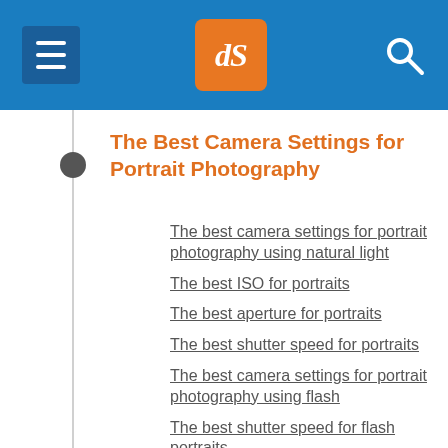[Figure (screenshot): Website header bar with hamburger menu, dPS logo, and search icon]
The Best Camera Settings for Portrait Photography
The best camera settings for portrait photography using natural light
The best ISO for portraits
The best aperture for portraits
The best shutter speed for portraits
The best camera settings for portrait photography using flash
The best shutter speed for flash portraits
The best aperture for flash portraits
The best ISO for flash portraits
Strobe power
One more portrait settings tip